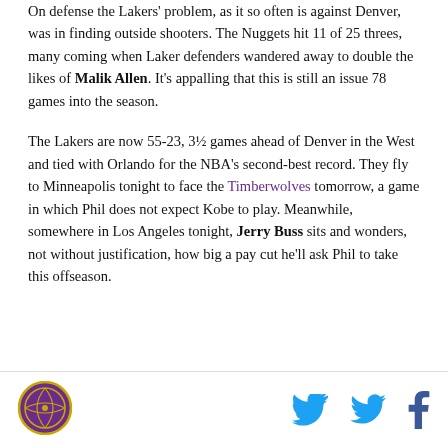On defense the Lakers' problem, as it so often is against Denver, was in finding outside shooters. The Nuggets hit 11 of 25 threes, many coming when Laker defenders wandered away to double the likes of Malik Allen. It's appalling that this is still an issue 78 games into the season.
The Lakers are now 55-23, 3½ games ahead of Denver in the West and tied with Orlando for the NBA's second-best record. They fly to Minneapolis tonight to face the Timberwolves tomorrow, a game in which Phil does not expect Kobe to play. Meanwhile, somewhere in Los Angeles tonight, Jerry Buss sits and wonders, not without justification, how big a pay cut he'll ask Phil to take this offseason.
[Figure (logo): Round purple and gold logo with basketball design]